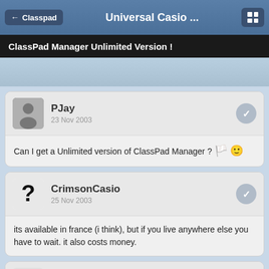← Classpad   Universal Casio ...   [grid icon]
ClassPad Manager Unlimited Version !
PJay
23 Nov 2003
Can I get a Unlimited version of ClassPad Manager ?
CrimsonCasio
25 Nov 2003
its available in france (i think), but if you live anywhere else you have to wait. it also costs money.
Bob Vila
25 Nov 2003
that bites